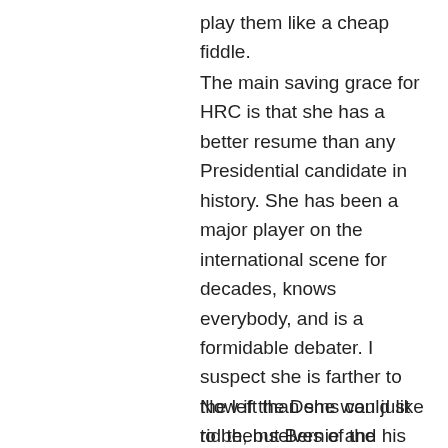play them like a cheap fiddle.
The main saving grace for HRC is that she has a better resume than any Presidential candidate in history. She has been a major player on the international scene for decades, knows everybody, and is a formidable debater. I suspect she is farther to the left than she would like to be, but Bernie and his hordes of supporters have pushed the Democratic Party in that direction. Bernie will have a major seat at the Convention, even if he is not the nominee. He has earned it, and I hope he remains a pain in the ass for Clinton and her enablers.
Now if the Dems can just rid themselves of the pestilence that is Debbie Wasserman Schultz.